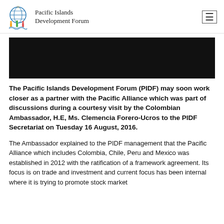Pacific Islands Development Forum
[Figure (photo): Black rectangular banner image, likely a photo header for the article]
The Pacific Islands Development Forum (PIDF) may soon work closer as a partner with the Pacific Alliance which was part of discussions during a courtesy visit by the Colombian Ambassador, H.E, Ms. Clemencia Forero-Ucros to the PIDF Secretariat on Tuesday 16 August, 2016.
The Ambassador explained to the PIDF management that the Pacific Alliance which includes Colombia, Chile, Peru and Mexico was established in 2012 with the ratification of a framework agreement. Its focus is on trade and investment and current focus has been internal where it is trying to promote stock market